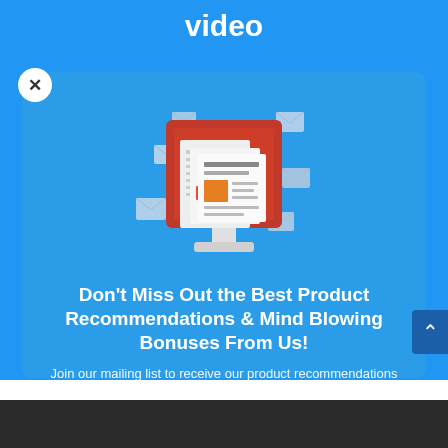video
[Figure (illustration): Computer monitor displaying a newsletter/newspaper with email envelopes flying around it, flat design style]
Don't Miss Out the Best Product Recommendations & Mind Blowing Bonuses From Us!
Join our mailing list to receive our product recommendations and industry top notch mind blowing bonuses.